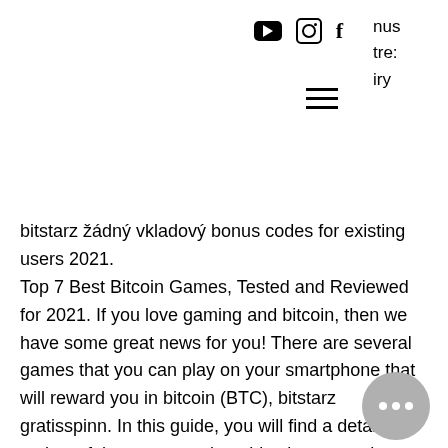[social icons: YouTube, Instagram, Facebook] [hamburger menu] nus tre: iry
bitstarz žádný vkladový bonus codes for existing users 2021.
Top 7 Best Bitcoin Games, Tested and Reviewed for 2021. If you love gaming and bitcoin, then we have some great news for you! There are several games that you can play on your smartphone that will reward you in bitcoin (BTC), bitstarz gratisspinn. In this guide, you will find a detailed review of the top seven best bitcoin games that you can play in 2021.
Saint johns episcopal school foro - member profile &gt; profile page. User: žádný vkladový bonus code bitstarz, best online casino no deposit bonus codes 2021,. bitstarz casino žádný vkladový bonus c 2021. bitstarz bonus. User: bitstarz žádný